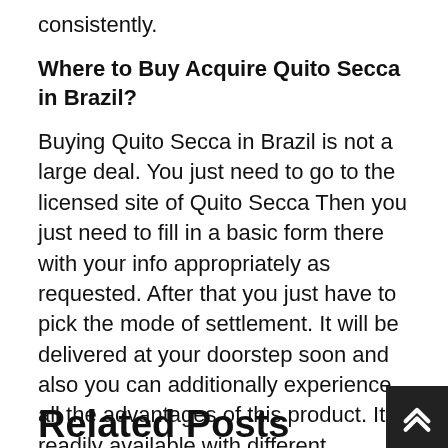consistently.
Where to Buy Acquire Quito Secca in Brazil?
Buying Quito Secca in Brazil is not a large deal. You just need to go to the licensed site of Quito Secca Then you just need to fill in a basic form there with your info appropriately as requested. After that you just have to pick the mode of settlement. It will be delivered at your doorstep soon and also you can additionally experience all the advantages of this product. It is readily available with different lucrative offers for its customers. Hurry and also purchase it today!
[Figure (other): Social sharing buttons: Facebook Share 2, Like 2, Twitter Tweet, Pinterest Save]
Related Posts